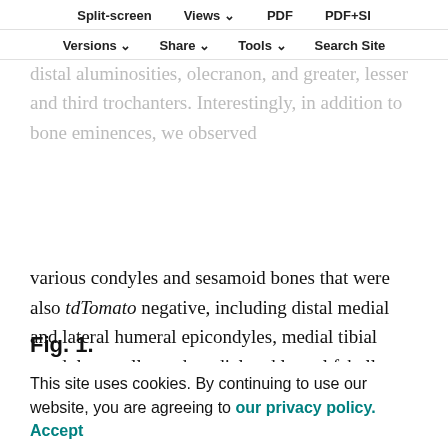Split-screen | Views | PDF | PDF+SI | Versions | Share | Tools | Search Site
superstructures of differentiating bones were tdTomato negative, including greater, lesser and distal aluminosities, olecranon, and greater, lesser and third trochanters. Interestingly, in addition to bone eminences, we observed various condyles and sesamoid bones that were also tdTomato negative, including distal medial and lateral humeral epicondyles, medial tibial condyle, patella, and medial and lateral fabella. These results demonstrate the generality of the modular process of long bone morphogenesis in the limb.
Fig. 1.
[Figure (photo): Microscopy image showing embryonic specimens labeled E17.5, E14.5, E13.5]
This site uses cookies. By continuing to use our website, you are agreeing to our privacy policy. Accept